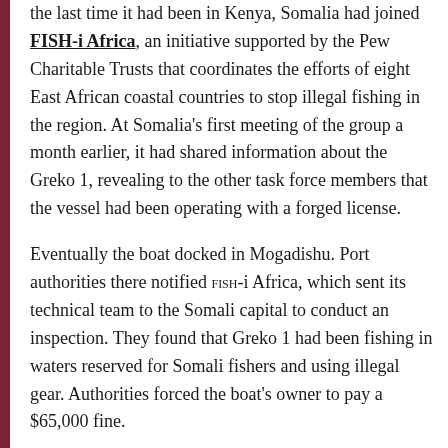the last time it had been in Kenya, Somalia had joined FISH-i Africa, an initiative supported by the Pew Charitable Trusts that coordinates the efforts of eight East African coastal countries to stop illegal fishing in the region. At Somalia's first meeting of the group a month earlier, it had shared information about the Greko 1, revealing to the other task force members that the vessel had been operating with a forged license.
Eventually the boat docked in Mogadishu. Port authorities there notified FISH-i Africa, which sent its technical team to the Somali capital to conduct an inspection. They found that Greko 1 had been fishing in waters reserved for Somali fishers and using illegal gear. Authorities forced the boat's owner to pay a $65,000 fine.